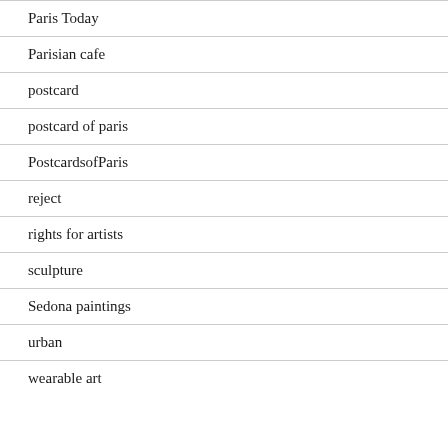Paris Today
Parisian cafe
postcard
postcard of paris
PostcardsofParis
reject
rights for artists
sculpture
Sedona paintings
urban
wearable art